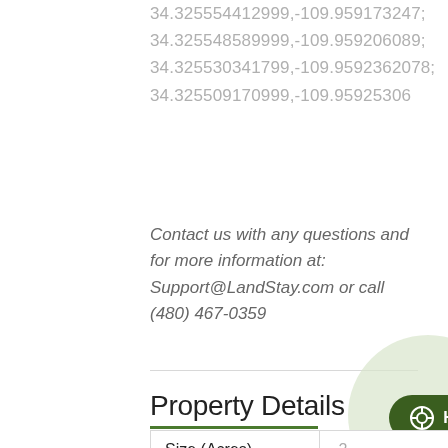34.325554412999,-109.959173247; 34.325548589999,-109.959206089; 34.325530341799,-109.9592362078; 34.325509170999,-109.95925306
Contact us with any questions and for more information at: Support@LandStay.com or call (480) 467-0359
Property Details
|  |  |
| --- | --- |
| Size (Acres) | .2 |
| County | 04017 |
| State | AZ |